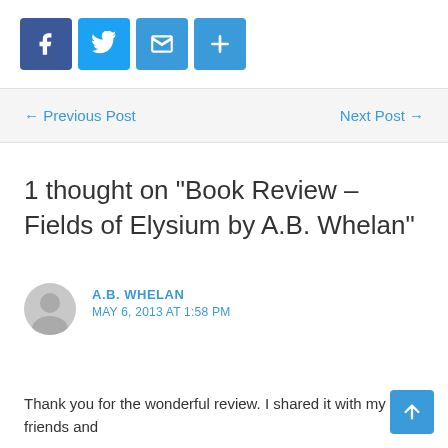[Figure (other): Social share buttons: Facebook, Twitter, Email, and a plus/share button, all blue square icons]
← Previous Post    Next Post →
1 thought on "Book Review – Fields of Elysium by A.B. Whelan"
A.B. WHELAN
MAY 6, 2013 AT 1:58 PM
Thank you for the wonderful review. I shared it with my friends and